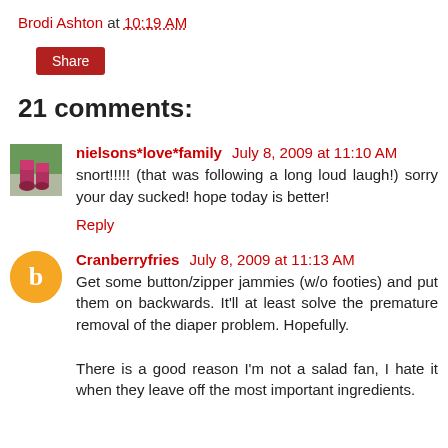Brodi Ashton at 10:19 AM
[Figure (other): Share button - dark red rounded rectangle with white text 'Share']
21 comments:
[Figure (photo): Avatar image showing pink/red boots on grass/stone background]
nielsons*love*family July 8, 2009 at 11:10 AM
snort!!!!! (that was following a long loud laugh!) sorry your day sucked! hope today is better!
Reply
[Figure (logo): Orange circle Blogger 'b' logo avatar for Cranberryfries]
Cranberryfries July 8, 2009 at 11:13 AM
Get some button/zipper jammies (w/o footies) and put them on backwards. It'll at least solve the premature removal of the diaper problem. Hopefully.

There is a good reason I'm not a salad fan, I hate it when they leave off the most important ingredients.